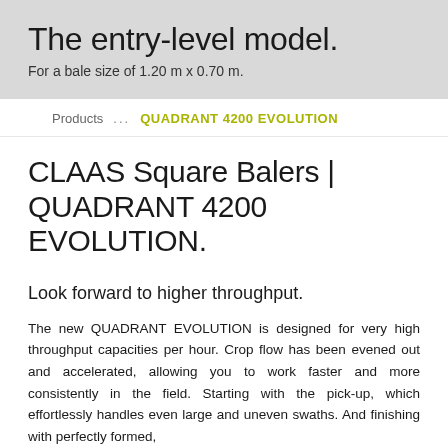The entry-level model.
For a bale size of 1.20 m x 0.70 m.
Products ... QUADRANT 4200 EVOLUTION
CLAAS Square Balers | QUADRANT 4200 EVOLUTION.
Look forward to higher throughput.
The new QUADRANT EVOLUTION is designed for very high throughput capacities per hour. Crop flow has been evened out and accelerated, allowing you to work faster and more consistently in the field. Starting with the pick-up, which effortlessly handles even large and uneven swaths. And finishing with perfectly formed,